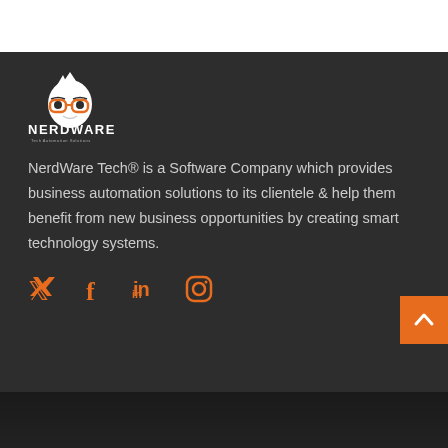[Figure (logo): NerdWare Tech logo with a white cartoon nerd face and glasses, orange goggles, with 'NERDWARE' text and 'Tech Automation Solutions' tagline]
NerdWare Tech® is a Software Company which provides business automation solutions to its clientele & help them benefit from new business opportunities by creating smart technology systems.
[Figure (infographic): Social media icons: Twitter, Facebook, LinkedIn, Instagram in orange color, and an orange back-to-top button with upward chevron on the right]